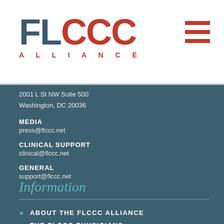[Figure (logo): FLCCC Alliance logo — FL in dark teal, CCC in red, ALLIANCE in red small caps below]
[Figure (other): Hamburger menu icon — three red horizontal bars]
2001 L St NW Suite 500
Washington, DC 20036
MEDIA
press@flccc.net
CLINICAL SUPPORT
clinical@flccc.net
GENERAL
support@flccc.net
Information
ABOUT THE FLCCC ALLIANCE
THE FLCCC PHYSICIANS